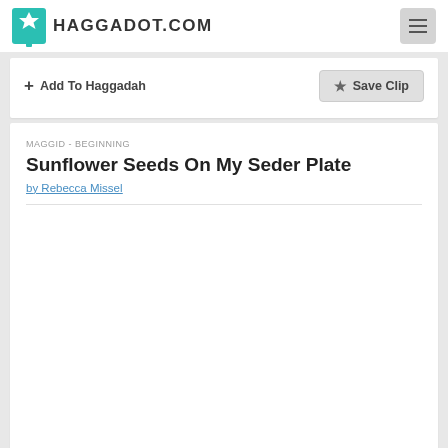HAGGADOT.COM
+ Add To Haggadah
★ Save Clip
MAGGID - BEGINNING
Sunflower Seeds On My Seder Plate
by Rebecca Missel